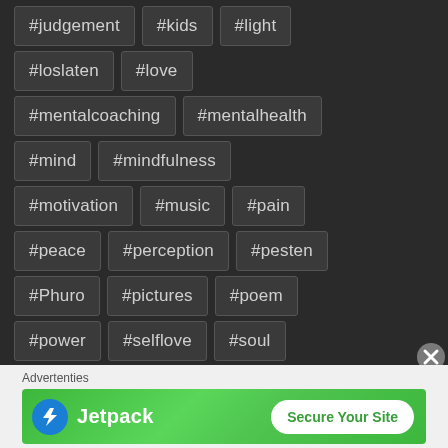#judgement
#kids
#light
#loslaten
#love
#mentalcoaching
#mentalhealth
#mind
#mindfulness
#motivation
#music
#pain
#peace
#perception
#pesten
#Phuro
#pictures
#poem
#power
#selflove
#soul
#spells
#spirit
#struggle
Advertenties
[Figure (screenshot): Jetpack advertisement banner with green background showing 'Jetpack' logo and 'Secure Your Site' button]